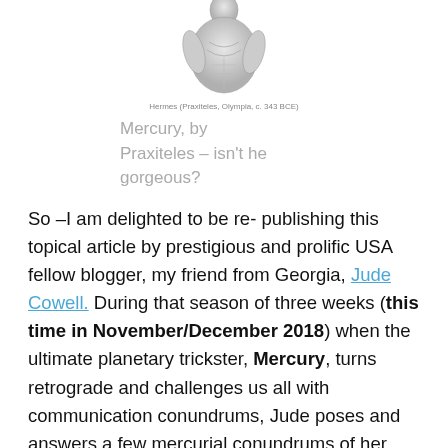[Figure (photo): Black and white photo of a classical Greek sculpture of Hermes (Mercury), torso and head visible, with a small caption below reading 'Hermes (Praxiteles, Olympia, c. 343 BCE)']
Mercury, by Praxiteles – isn't he gorgeous?
So –I am delighted to be re- publishing this topical article by prestigious and prolific USA fellow blogger, my friend from Georgia, Jude Cowell. During that season of three weeks (this time in November/December 2018) when the ultimate planetary trickster, Mercury, turns retrograde and challenges us all with communication conundrums, Jude poses and answers a few mercurial conundrums of her own…
" Having astrology's trickster planet, Mercury, or Mercury-ruled Gemini or Virgo, associated with one's natal twelfth